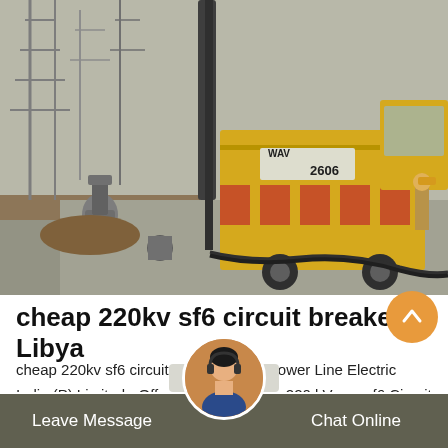[Figure (photo): Outdoor electrical substation with a large yellow truck/crane vehicle marked 'WAV 2606', heavy cables and SF6 circuit breaker equipment being installed, steel towers in background, worker in hard hat visible on the right side.]
cheap 220kv sf6 circuit breaker Libya
cheap 220kv sf6 circuit breaker Libya,Power Line Electric India (P) Limited - Offering High-Voltage 220 kV gaz sf6 Circuit Breaker at Rs 1400000/set in Ghaziabad, Uttar Pradesh. Read about company. Get contact d…
Leave Message   Chat Online